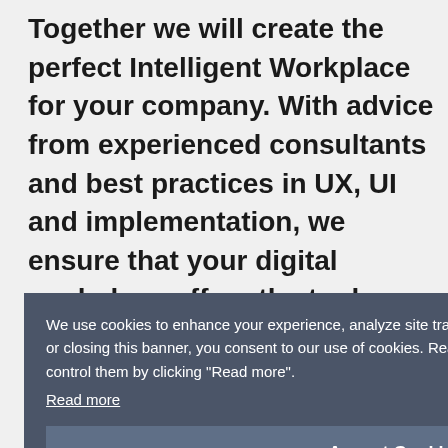Together we will create the perfect Intelligent Workplace for your company. With advice from experienced consultants and best practices in UX, UI and implementation, we ensure that your digital workplace offers the tools, services and
[Figure (screenshot): Cookie consent banner overlay with dark grey background. Contains text: 'We use cookies to enhance your experience, analyze site traffic and serve tailored content. By continuing to browse or closing this banner, you consent to our use of cookies. Read more about how we use cookies and how you can control them by clicking "Read more".' with a 'Read more' underlined link and an 'Accept Cookies' button.]
hable
your
Change management & coaching